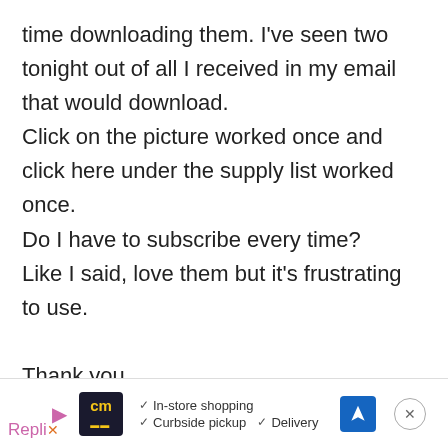time downloading them. I've seen two tonight out of all I received in my email that would download.
Click on the picture worked once and click here under the supply list worked once.
Do I have to subscribe every time?
Like I said, love them but it's frustrating to use.

Thank you,

Genevieve Saunders
[Figure (screenshot): Advertisement bar at bottom: CM logo, checkmarks for In-store shopping, Curbside pickup, Delivery, navigation arrow icon, close button. Pink Reply text on left.]